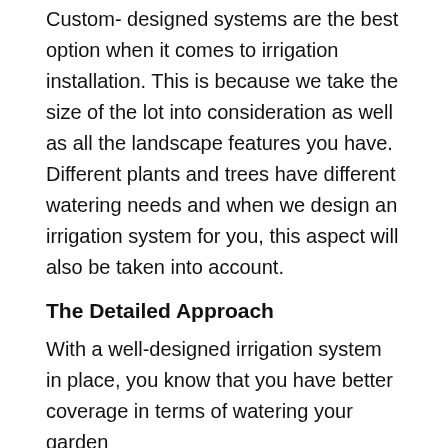Custom-designed systems are the best option when it comes to irrigation installation. This is because we take the size of the lot into consideration as well as all the landscape features you have. Different plants and trees have different watering needs and when we design an irrigation system for you, this aspect will also be taken into account.
The Detailed Approach
With a well-designed irrigation system in place, you know that you have better coverage in terms of watering your garden